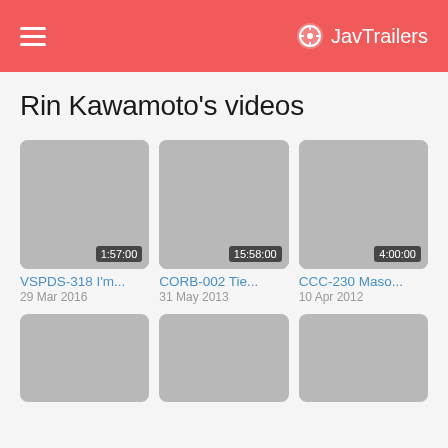JavTrailers
Rin Kawamoto's videos
[Figure (screenshot): Video thumbnail placeholder 1 with duration badge 1:57:00]
VSPDS-318 I'm...
29 Mar 2016
[Figure (screenshot): Video thumbnail placeholder 2 with duration badge 15:58:00]
CORB-002 Tie...
31 May 2013
[Figure (screenshot): Video thumbnail placeholder 3 with duration badge 4:00:00]
CCC-230 Maso...
10 Apr 2012
[Figure (screenshot): Video thumbnail placeholder 4, no duration visible]
[Figure (screenshot): Video thumbnail placeholder 5, no duration visible]
[Figure (screenshot): Video thumbnail placeholder 6, no duration visible]